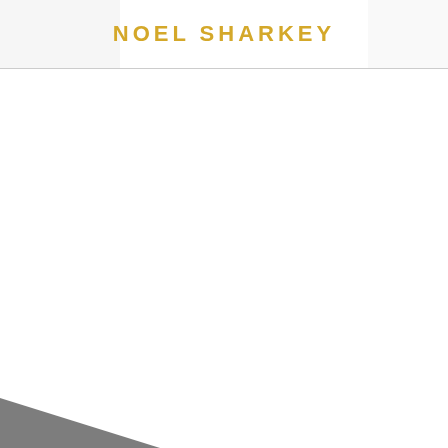NOEL SHARKEY
[Figure (illustration): Decorative bottom corner triangle shape in dark grey/charcoal color at bottom-left of page]